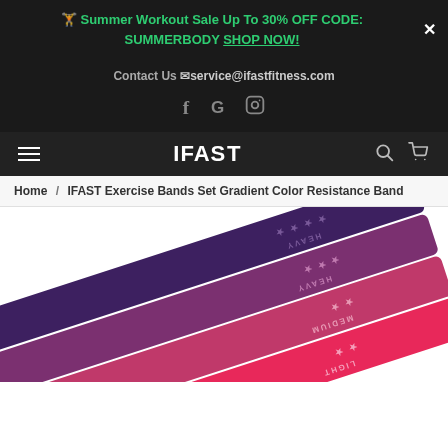🏋️ Summer Workout Sale Up To 30% OFF CODE: SUMMERBODY SHOP NOW!
Contact Us 📧service@ifastfitness.com
[Figure (logo): Social media icons: Facebook (f), Google (G), Instagram (camera icon)]
[Figure (logo): IFAST logo with hamburger menu, search icon, and cart icon navigation bar]
Home / IFAST Exercise Bands Set Gradient Color Resistance Band
[Figure (photo): Product photo of IFAST gradient color resistance bands - four elastic loop bands in purple, dark pink/mauve, medium pink, and hot pink, fanned out diagonally with star ratings and labels (HEAVY, HEAVY, MEDIUM, LIGHT) printed on each band]